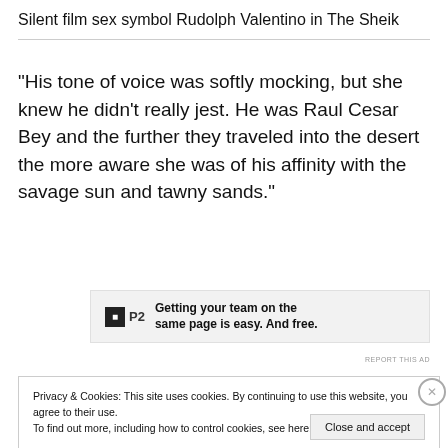Silent film sex symbol Rudolph Valentino in The Sheik
“His tone of voice was softly mocking, but she knew he didn’t really jest. He was Raul Cesar Bey and the further they traveled into the desert the more aware she was of his affinity with the savage sun and tawny sands.”
[Figure (other): Advertisement banner for P2 app: logo with black square icon and 'P2' text, with bold text 'Getting your team on the same page is easy. And free.']
Privacy & Cookies: This site uses cookies. By continuing to use this website, you agree to their use.
To find out more, including how to control cookies, see here: Cookie Policy